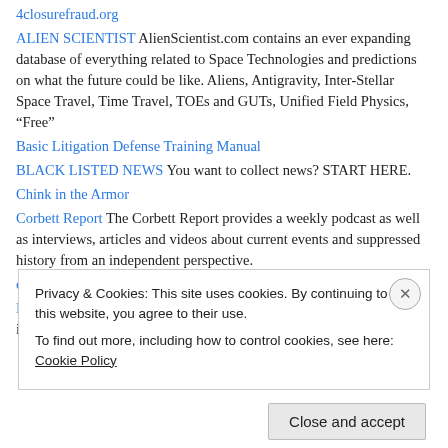4closurefraud.org
ALIEN SCIENTIST AlienScientist.com contains an ever expanding database of everything related to Space Technologies and predictions on what the future could be like. Aliens, Antigravity, Inter-Stellar Space Travel, Time Travel, TOEs and GUTs, Unified Field Physics, “Free”
Basic Litigation Defense Training Manual
BLACK LISTED NEWS You want to collect news? START HERE.
Chink in the Armor
Corbett Report The Corbett Report provides a weekly podcast as well as interviews, articles and videos about current events and suppressed history from an independent perspective.
creditorsincommerce.com resources
Electronic Frontier Foundation (EFF) EFF fights for freedom primarily in the...
Privacy & Cookies: This site uses cookies. By continuing to use this website, you agree to their use.
To find out more, including how to control cookies, see here: Cookie Policy
Close and accept